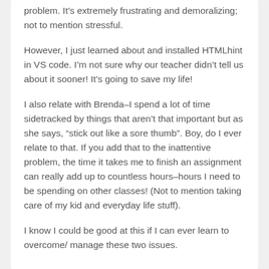problem. It's extremely frustrating and demoralizing; not to mention stressful.
However, I just learned about and installed HTMLhint in VS code. I'm not sure why our teacher didn't tell us about it sooner! It's going to save my life!
I also relate with Brenda–I spend a lot of time sidetracked by things that aren't that important but as she says, “stick out like a sore thumb”. Boy, do I ever relate to that. If you add that to the inattentive problem, the time it takes me to finish an assignment can really add up to countless hours–hours I need to be spending on other classes! (Not to mention taking care of my kid and everyday life stuff).
I know I could be good at this if I can ever learn to overcome/ manage these two issues.